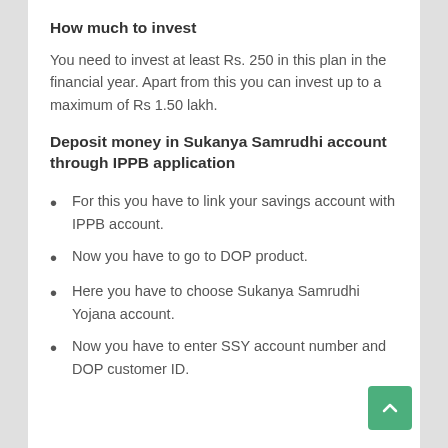How much to invest
You need to invest at least Rs. 250 in this plan in the financial year. Apart from this you can invest up to a maximum of Rs 1.50 lakh.
Deposit money in Sukanya Samrudhi account through IPPB application
For this you have to link your savings account with IPPB account.
Now you have to go to DOP product.
Here you have to choose Sukanya Samrudhi Yojana account.
Now you have to enter SSY account number and DOP customer ID.